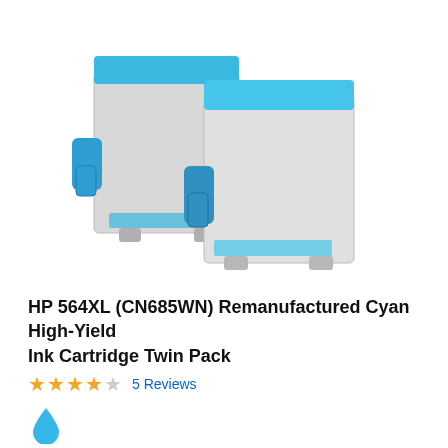[Figure (photo): Two cyan/blue HP ink cartridges (remanufactured), shown at a slight angle side by side on a white background. The cartridges are grey-bodied with cyan/blue trim and snap clips.]
HP 564XL (CN685WN) Remanufactured Cyan High-Yield Ink Cartridge Twin Pack
★★★★☆ 5 Reviews
[Figure (illustration): Cyan color swatch — a cyan water-drop icon indicating the ink color]
Cyan